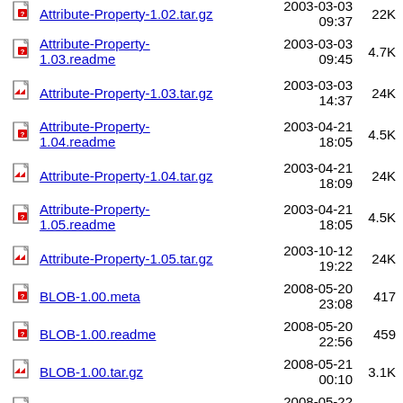Attribute-Property-1.02.tar.gz  2003-03-03 09:37  22K
Attribute-Property-1.03.readme  2003-03-03 09:45  4.7K
Attribute-Property-1.03.tar.gz  2003-03-03 14:37  24K
Attribute-Property-1.04.readme  2003-04-21 18:05  4.5K
Attribute-Property-1.04.tar.gz  2003-04-21 18:09  24K
Attribute-Property-1.05.readme  2003-04-21 18:05  4.5K
Attribute-Property-1.05.tar.gz  2003-10-12 19:22  24K
BLOB-1.00.meta  2008-05-20 23:08  417
BLOB-1.00.readme  2008-05-20 22:56  459
BLOB-1.00.tar.gz  2008-05-21 00:10  3.1K
BLOB-1.01.meta  2008-05-22 03:25  406
BLOB-1.01.readme  2008-05-20 22:56  459